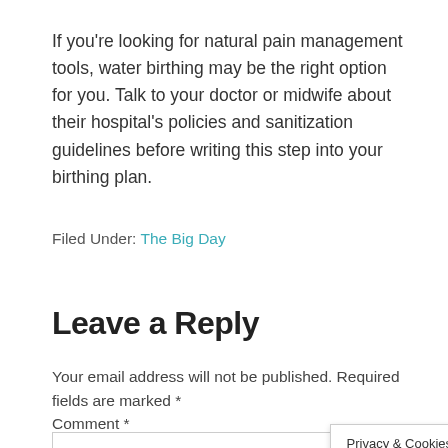If you're looking for natural pain management tools, water birthing may be the right option for you. Talk to your doctor or midwife about their hospital's policies and sanitization guidelines before writing this step into your birthing plan.
Filed Under: The Big Day
Leave a Reply
Your email address will not be published. Required fields are marked *
Comment *
Privacy & Cookies Policy